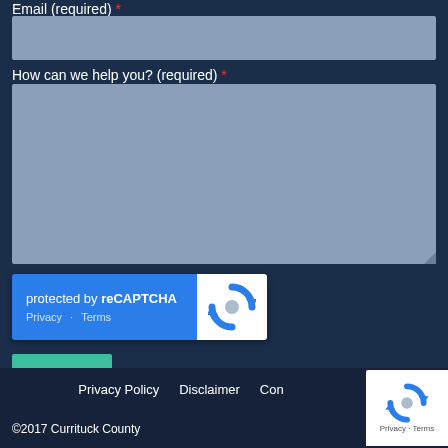Email (required) *
[Figure (screenshot): Email input text field, light blue-grey background]
How can we help you? (required) *
[Figure (screenshot): Large textarea input field, light blue-grey background]
[Figure (screenshot): reCAPTCHA widget: blue left panel with 'protected by reCAPTCHA' and Privacy/Terms links, white right panel with reCAPTCHA spinning arrows logo]
SEND
Privacy Policy   Disclaimer   Contact   Privacy · Terms   ©2017 Currituck County